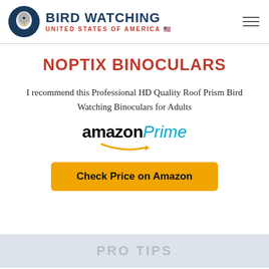BIRD WATCHING UNITED STATES OF AMERICA
NOPTIX BINOCULARS
I recommend this Professional HD Quality Roof Prism Bird Watching Binoculars for Adults
[Figure (logo): Amazon Prime logo with orange arrow]
[Figure (other): Check Price on Amazon orange button]
PRO TIPS (partially visible at bottom)